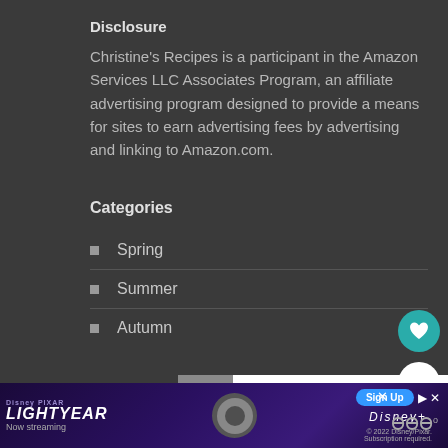Disclosure
Christine's Recipes is a participant in the Amazon Services LLC Associates Program, an affiliate advertising program designed to provide a means for sites to earn advertising fees by advertising and linking to Amazon.com.
Categories
Spring
Summer
Autumn
[Figure (infographic): Floating teal heart button with count 5 and share icon button]
[Figure (infographic): What's Next widget showing Pandan Coconut Rice]
[Figure (infographic): Disney Pixar Lightyear advertisement banner with Sign Up button]